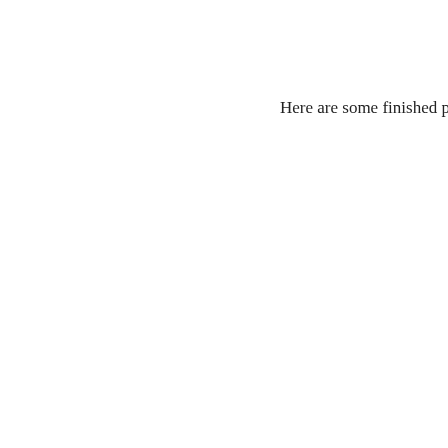[Figure (photo): Partial view of a framed photo at top right corner, showing what appears to be a workshop or studio setting]
Here are some finished pie
[Figure (photo): Colorful tie-dye fabric pieces hanging in a row, showing various patterns in blue, green, yellow, teal, and pink/purple colors]